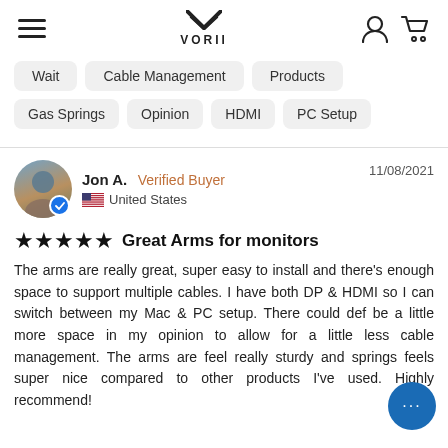VORII
Wait
Cable Management
Products
Gas Springs
Opinion
HDMI
PC Setup
Jon A.  Verified Buyer   11/08/2021  United States
Great Arms for monitors
The arms are really great, super easy to install and there's enough space to support multiple cables. I have both DP & HDMI so I can switch between my Mac & PC setup. There could def be a little more space in my opinion to allow for a little less cable management. The arms are feel really sturdy and springs feels super nice compared to other products I've used. Highly recommend!